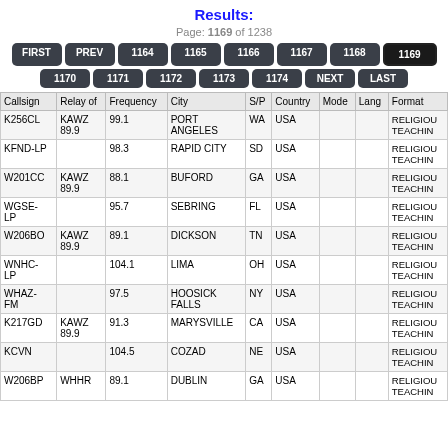Results:
Page: 1169 of 1238
FIRST PREV 1164 1165 1166 1167 1168 1169 1170 1171 1172 1173 1174 NEXT LAST
| Callsign | Relay of | Frequency | City | S/P | Country | Mode | Lang | Format |
| --- | --- | --- | --- | --- | --- | --- | --- | --- |
| K256CL | KAWZ 89.9 | 99.1 | PORT ANGELES | WA | USA |  |  | RELIGIOUS TEACHING |
| KFND-LP |  | 98.3 | RAPID CITY | SD | USA |  |  | RELIGIOUS TEACHING |
| W201CC | KAWZ 89.9 | 88.1 | BUFORD | GA | USA |  |  | RELIGIOUS TEACHING |
| WGSE-LP |  | 95.7 | SEBRING | FL | USA |  |  | RELIGIOUS TEACHING |
| W206BO | KAWZ 89.9 | 89.1 | DICKSON | TN | USA |  |  | RELIGIOUS TEACHING |
| WNHC-LP |  | 104.1 | LIMA | OH | USA |  |  | RELIGIOUS TEACHING |
| WHAZ-FM |  | 97.5 | HOOSICK FALLS | NY | USA |  |  | RELIGIOUS TEACHING |
| K217GD | KAWZ 89.9 | 91.3 | MARYSVILLE | CA | USA |  |  | RELIGIOUS TEACHING |
| KCVN |  | 104.5 | COZAD | NE | USA |  |  | RELIGIOUS TEACHING |
| W206BP | WHHR | 89.1 | DUBLIN | GA | USA |  |  | RELIGIOUS |